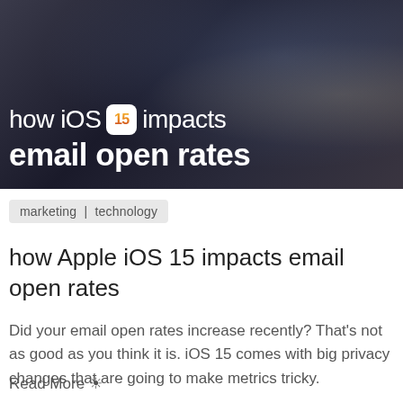[Figure (photo): Hero image of a person holding a smartphone, dark background with text overlay reading 'how iOS 15 impacts email open rates']
marketing | technology
how Apple iOS 15 impacts email open rates
Did your email open rates increase recently? That's not as good as you think it is. iOS 15 comes with big privacy changes that are going to make metrics tricky.
Read More